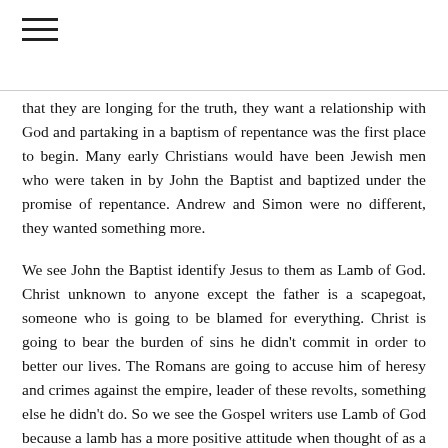that they are longing for the truth, they want a relationship with God and partaking in a baptism of repentance was the first place to begin. Many early Christians would have been Jewish men who were taken in by John the Baptist and baptized under the promise of repentance. Andrew and Simon were no different, they wanted something more.
We see John the Baptist identify Jesus to them as Lamb of God. Christ unknown to anyone except the father is a scapegoat, someone who is going to be blamed for everything. Christ is going to bear the burden of sins he didn't commit in order to better our lives. The Romans are going to accuse him of heresy and crimes against the empire, leader of these revolts, something else he didn't do. So we see the Gospel writers use Lamb of God because a lamb has a more positive attitude when thought of as a goat, it illustrates the innocence of Christ.
Here we have Andrew and Simon chasing after God's